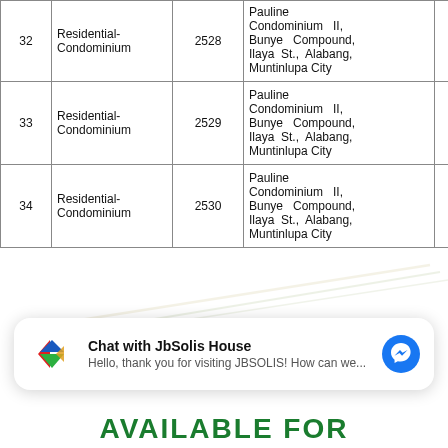| # | Type | Code | Address | Val |
| --- | --- | --- | --- | --- |
| 32 | Residential-Condominium | 2528 | Pauline Condominium II, Bunye Compound, Ilaya St., Alabang, Muntinlupa City | 0 |
| 33 | Residential-Condominium | 2529 | Pauline Condominium II, Bunye Compound, Ilaya St., Alabang, Muntinlupa City | 0 |
| 34 | Residential-Condominium | 2530 | Pauline Condominium II, Bunye Compound, Ilaya St., Alabang, Muntinlupa City | 0 |
[Figure (logo): JbSolis House chat widget with logo]
Chat with JbSolis House — Hello, thank you for visiting JBSOLIS! How can we...
AVAILABLE FOR